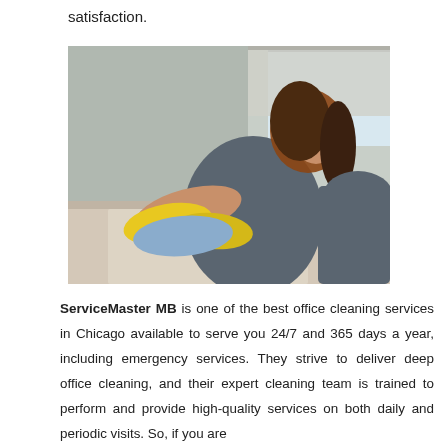satisfaction.
[Figure (photo): Woman wearing yellow rubber gloves wiping a kitchen countertop with a blue cloth, performing cleaning work.]
ServiceMaster MB is one of the best office cleaning services in Chicago available to serve you 24/7 and 365 days a year, including emergency services. They strive to deliver deep office cleaning, and their expert cleaning team is trained to perform and provide high-quality services on both daily and periodic visits. So, if you are